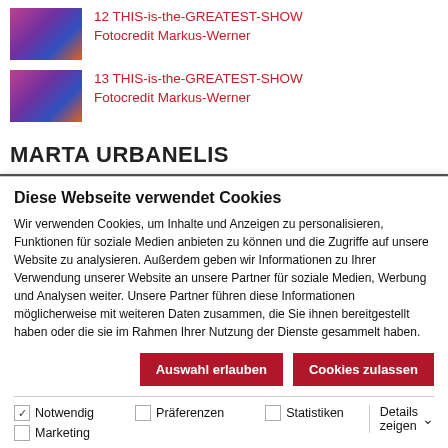12 THIS-is-the-GREATEST-SHOW Fotocredit Markus-Werner
13 THIS-is-the-GREATEST-SHOW Fotocredit Markus-Werner
MARTA URBANELIS
Diese Webseite verwendet Cookies
Wir verwenden Cookies, um Inhalte und Anzeigen zu personalisieren, Funktionen für soziale Medien anbieten zu können und die Zugriffe auf unsere Website zu analysieren. Außerdem geben wir Informationen zu Ihrer Verwendung unserer Website an unsere Partner für soziale Medien, Werbung und Analysen weiter. Unsere Partner führen diese Informationen möglicherweise mit weiteren Daten zusammen, die Sie ihnen bereitgestellt haben oder die sie im Rahmen Ihrer Nutzung der Dienste gesammelt haben.
Auswahl erlauben | Cookies zulassen
Notwendig  Präferenzen  Statistiken  Marketing  Details zeigen